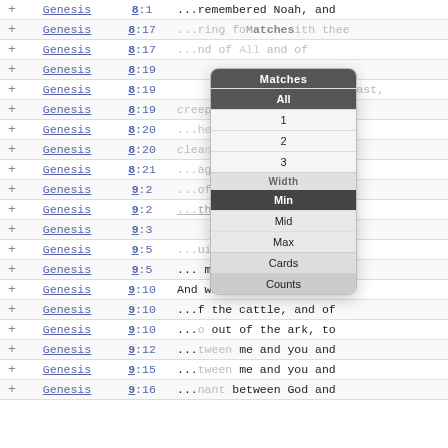| + | Book | Verse | Text |
| --- | --- | --- | --- |
| + | Genesis | 8:1 | ...remembered Noah, and... |
| + | Genesis | 8:17 | ...ring fo...with thee... |
| + | Genesis | 8:17 | ...nd of... and of... |
| + | Genesis | 8:19 |  |
| + | Genesis | 8:19 | beast,... |
| + | Genesis | 8:19 | creep...ng, and... |
| + | Genesis | 8:20 | ...he LORD;...took of... |
| + | Genesis | 8:20 | clea...and of... |
| + | Genesis | 8:21 | ...again...y more... |
| + | Genesis | 9:2 | ...of yo...e upon... |
| + | Genesis | 9:2 | ...the earth, and upon... |
| + | Genesis | 9:3 |  |
| + | Genesis | 9:5 | ...uire;...hand of... |
| + | Genesis | 9:5 | ...man; at the hand of... |
| + | Genesis | 9:10 | And with... |
| + | Genesis | 9:10 | ...f the cattle, and of... |
| + | Genesis | 9:10 | ...o out of the ark, to... |
| + | Genesis | 9:12 | ...tween me and you and... |
| + | Genesis | 9:15 | ...tween me and you and... |
| + | Genesis | 9:16 | ...nant between God and... |
[Figure (screenshot): Popup menu with 'Matches' label showing options: All (selected/dark), 1, 2, 3; 'Width' divider with options: Min (selected/dark), Mid, Max; then Cards and Counts buttons.]